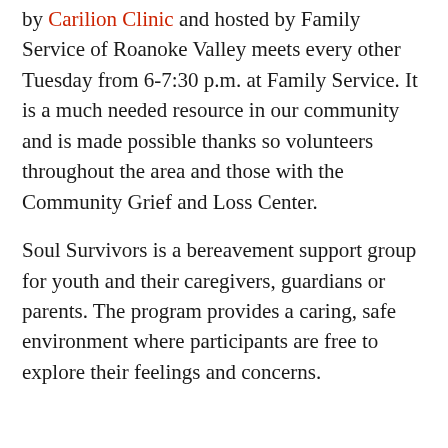by Carilion Clinic and hosted by Family Service of Roanoke Valley meets every other Tuesday from 6-7:30 p.m. at Family Service. It is a much needed resource in our community and is made possible thanks so volunteers throughout the area and those with the Community Grief and Loss Center.
Soul Survivors is a bereavement support group for youth and their caregivers, guardians or parents. The program provides a caring, safe environment where participants are free to explore their feelings and concerns.